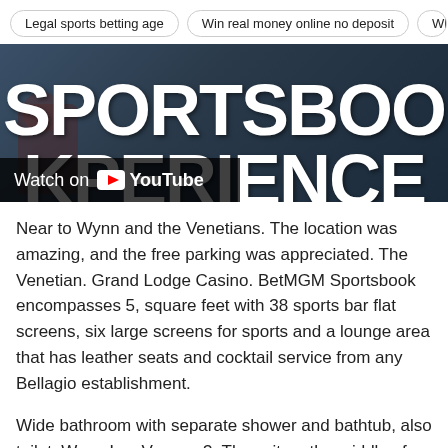Legal sports betting age | Win real money online no deposit | Wh…
[Figure (screenshot): YouTube video thumbnail showing a sportsbook with large bold text 'SPORTSBOOK' and 'KPERIENCE' overlaid, with a 'Watch on YouTube' overlay bar in the lower left.]
Near to Wynn and the Venetians. The location was amazing, and the free parking was appreciated. The Venetian. Grand Lodge Casino. BetMGM Sportsbook encompasses 5, square feet with 38 sports bar flat screens, six large screens for sports and a lounge area that has leather seats and cocktail service from any Bellagio establishment.
Wide bathroom with separate shower and bathtub, also toilet. Wynn Las Vegas · 3. They sit on the middle of the strip. The Mirage. Downtown Grand. You can drive in and park yourself, or use valet service offered at the resort. During football season, get here early and enjoy your Sunday as you…